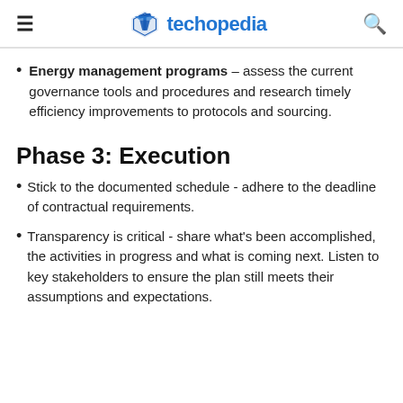techopedia
Energy management programs – assess the current governance tools and procedures and research timely efficiency improvements to protocols and sourcing.
Phase 3: Execution
Stick to the documented schedule - adhere to the deadline of contractual requirements.
Transparency is critical - share what's been accomplished, the activities in progress and what is coming next. Listen to key stakeholders to ensure the plan still meets their assumptions and expectations.